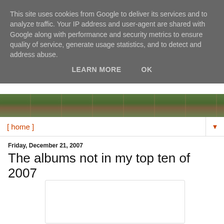This site uses cookies from Google to deliver its services and to analyze traffic. Your IP address and user-agent are shared with Google along with performance and security metrics to ensure quality of service, generate usage statistics, and to detect and address abuse.
LEARN MORE    OK
[Figure (photo): Header photograph of green foliage and trees]
[ home ]
Friday, December 21, 2007
The albums not in my top ten of 2007
[Figure (photo): Embedded image placeholder (white box with border)]